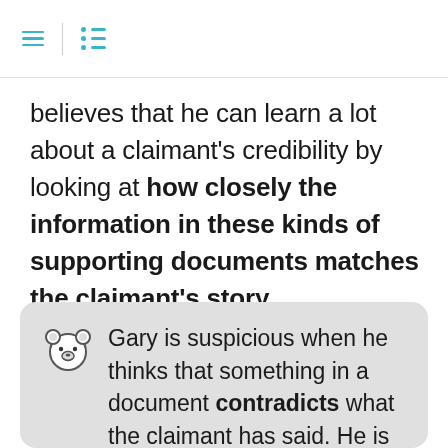[hamburger menu icon] | [list icon]
believes that he can learn a lot about a claimant's credibility by looking at how closely the information in these kinds of supporting documents matches the claimant's story.
Gary is suspicious when he thinks that something in a document contradicts what the claimant has said. He is also suspicious if he thinks that the document is